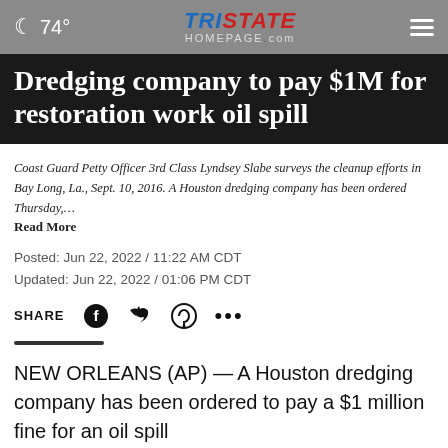74° | TRISTATE HOMEPAGE.com
Dredging company to pay $1M for restoration work oil spill
Coast Guard Petty Officer 3rd Class Lyndsey Slabe surveys the cleanup efforts in Bay Long, La., Sept. 10, 2016. A Houston dredging company has been ordered Thursday,… Read More
Posted: Jun 22, 2022 / 11:22 AM CDT
Updated: Jun 22, 2022 / 01:06 PM CDT
SHARE
NEW ORLEANS (AP) — A Houston dredging company has been ordered to pay a $1 million fine for an oil spill